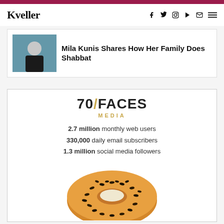Kveller — navigation bar with logo and social icons
[Figure (screenshot): Thumbnail photo of a woman (Mila Kunis) in a dark top against a teal background]
Mila Kunis Shares How Her Family Does Shabbat
[Figure (infographic): 70/FACES MEDIA promotional card: 2.7 million monthly web users, 330,000 daily email subscribers, 1.3 million social media followers, with a bagel image at the bottom]